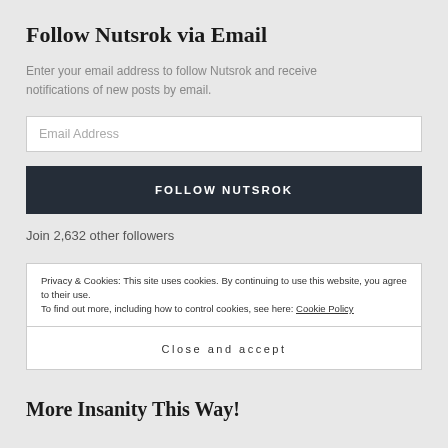Follow Nutsrok via Email
Enter your email address to follow Nutsrok and receive notifications of new posts by email.
Email Address
FOLLOW NUTSROK
Join 2,632 other followers
Privacy & Cookies: This site uses cookies. By continuing to use this website, you agree to their use.
To find out more, including how to control cookies, see here: Cookie Policy
Close and accept
More Insanity This Way!